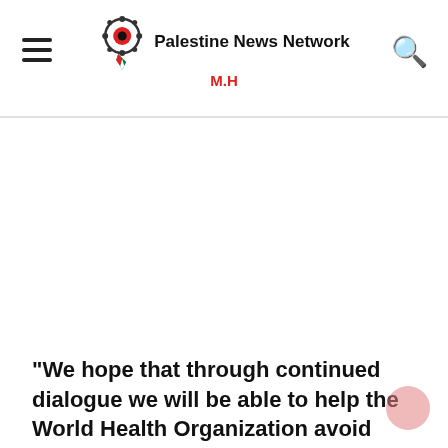Palestine News Network M.H
[Figure (photo): Blank white image area below the header]
"We hope that through continued dialogue we will be able to help the World Health Organization avoid hasty action and make mistakes that may take years to